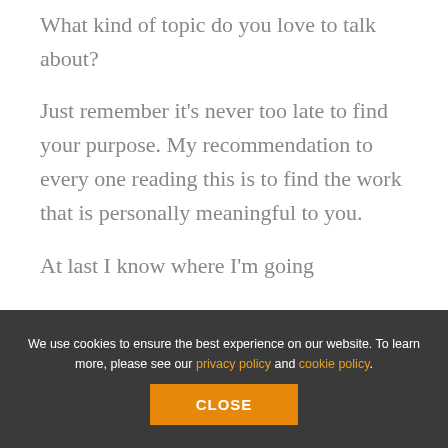What kind of topic do you love to talk about?
Just remember it’s never too late to find your purpose. My recommendation to every one reading this is to find the work that is personally meaningful to you.
At last I know where I’m going
We use cookies to ensure the best experience on our website. To learn more, please see our privacy policy and cookie policy.
CLOSE